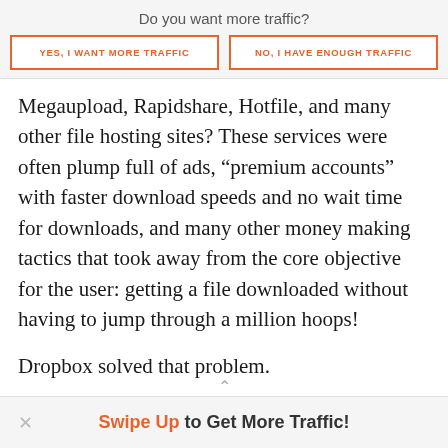Do you want more traffic?
YES, I WANT MORE TRAFFIC
NO, I HAVE ENOUGH TRAFFIC
Megaupload, Rapidshare, Hotfile, and many other file hosting sites? These services were often plump full of ads, “premium accounts” with faster download speeds and no wait time for downloads, and many other money making tactics that took away from the core objective for the user: getting a file downloaded without having to jump through a million hoops!
Dropbox solved that problem.
If a user wants to share a file, they simply use the ‘Get Link’
Swipe Up to Get More Traffic!